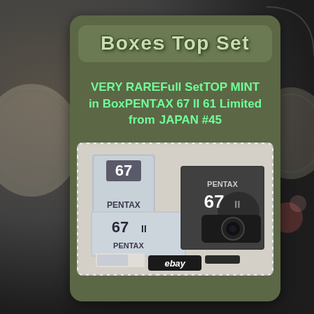Boxes Top Set
VERY RAREFull SetTOP MINT in BoxPENTAX 67 II 61 Limited from JAPAN #45
[Figure (photo): Pentax 67 II 61 Limited camera set with boxes, accessories, and eBay watermark. Shows multiple grey Pentax 67 II boxes and the camera body on a white background.]